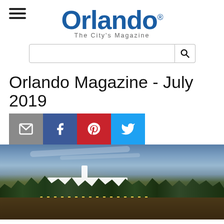[Figure (logo): Orlando - The City's Magazine logo with hamburger menu icon and search bar]
Orlando Magazine - July 2019
[Figure (infographic): Social sharing buttons: email (grey), Facebook (blue), Pinterest (red), Twitter (light blue)]
[Figure (photo): Evening/dusk photo of a white building with steeple surrounded by palm trees and tropical foliage, with warm lights illuminating the scene]